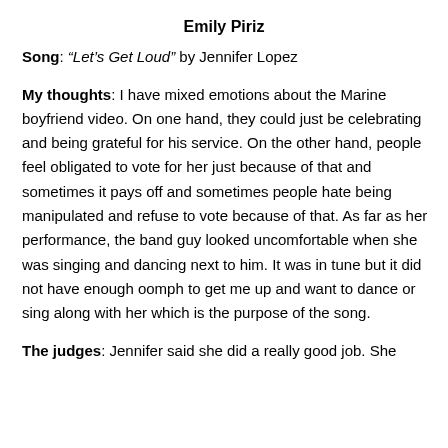Emily Piriz
Song: “Let’s Get Loud” by Jennifer Lopez
My thoughts: I have mixed emotions about the Marine boyfriend video. On one hand, they could just be celebrating and being grateful for his service. On the other hand, people feel obligated to vote for her just because of that and sometimes it pays off and sometimes people hate being manipulated and refuse to vote because of that. As far as her performance, the band guy looked uncomfortable when she was singing and dancing next to him. It was in tune but it did not have enough oomph to get me up and want to dance or sing along with her which is the purpose of the song.
The judges: Jennifer said she did a really good job. She